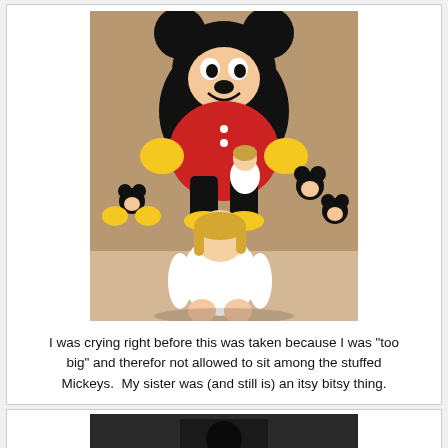[Figure (photo): A vintage photo of two children sitting among many Mickey Mouse stuffed animals at what appears to be a Disney store or attraction. A large Mickey Mouse plush is prominent in the background. One child with blonde hair sits in the foreground in a white outfit.]
I was crying right before this was taken because I was "too big" and therefor not allowed to sit among the stuffed Mickeys.  My sister was (and still is) an itsy bitsy thing.
[Figure (photo): Partial view of a second photo, appears dark/dimly lit, only top portion visible.]